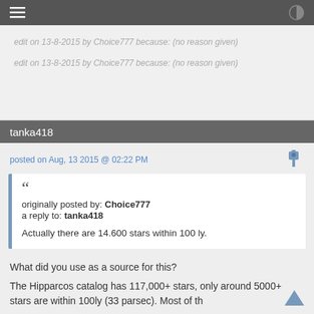edit on 13-8-2015 by Choice777 because: (no reason given)
edit on 13-8-2015 by Choice777 because: (no reason given)
tanka418
posted on Aug, 13 2015 @ 02:22 PM
originally posted by: Choice777
a reply to: tanka418

Actually there are 14.600 stars within 100 ly.
What did you use as a source for this?
The Hipparcos catalog has 117,000+ stars, only around 5000+ stars are within 100ly (33 parsec). Most of th